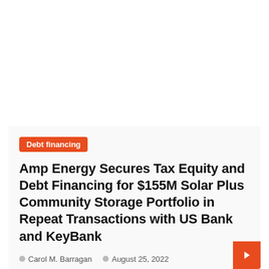Debt financing
Amp Energy Secures Tax Equity and Debt Financing for $155M Solar Plus Community Storage Portfolio in Repeat Transactions with US Bank and KeyBank
Carol M. Barragan   August 25, 2022